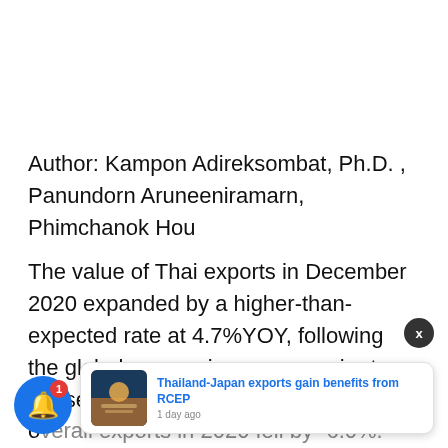Author: Kampon Adireksombat, Ph.D. , Panundorn Aruneeniramarn, Phimchanok Hou
The value of Thai exports in December 2020 expanded by a higher-than-expected rate at 4.7%YOY, following the global economic recovery prior to the second-wave outbreak. The value of overall exports in 2020 fell by -6.0%. Excluding gold, weaponry exports amounted to -8.4%.
[Figure (screenshot): A browser notification overlay showing a blue notification bell with a red badge showing '1', a close button (X) in dark circle, and a notification card with an image of a port/shipping scene and the title 'Thailand-Japan exports gain benefits from RCEP' with timestamp '1 day ago'.]